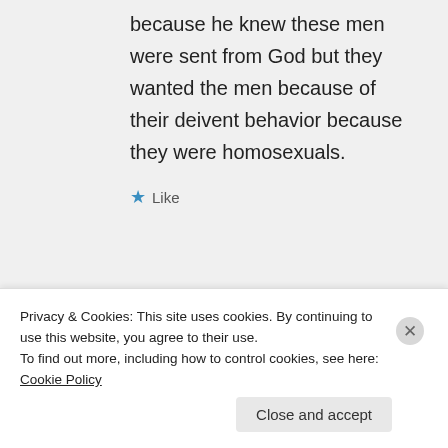because he knew these men were sent from God but they wanted the men because of their deivent behavior because they were homosexuals.
Like
Bogus Exception on April 23, 2016 at 8:24 pm
Privacy & Cookies: This site uses cookies. By continuing to use this website, you agree to their use.
To find out more, including how to control cookies, see here: Cookie Policy
Close and accept